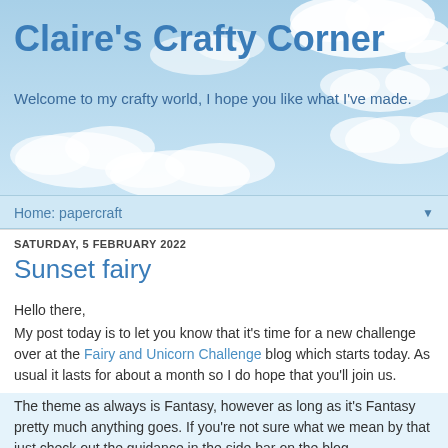[Figure (illustration): Blue sky background with white clouds, serving as the blog header banner]
Claire's Crafty Corner
Welcome to my crafty world, I hope you like what I've made.
Home: papercraft ▼
SATURDAY, 5 FEBRUARY 2022
Sunset fairy
Hello there,
My post today is to let you know that it's time for a new challenge over at the Fairy and Unicorn Challenge blog which starts today. As usual it lasts for about a month so I do hope that you'll join us.
The theme as always is Fantasy, however as long as it's Fantasy pretty much anything goes. If you're not sure what we mean by that just check out the guidance in the side bar on the blog.